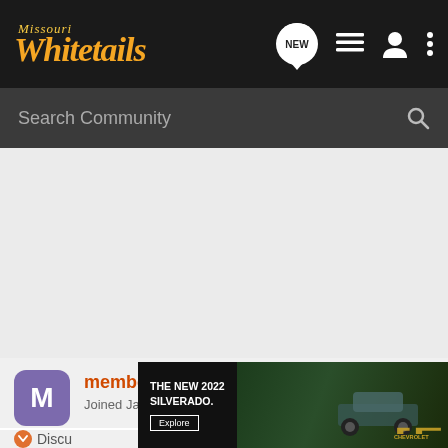Missouri Whitetails
Search Community
[Figure (screenshot): Gray empty content area in a forum page]
membergone · Registered
Joined Jan 17, 2021 · 8,847 R
[Figure (photo): Chevrolet advertisement banner: THE NEW 2022 SILVERADO. with Explore button and Chevrolet logo, truck in background]
Discu